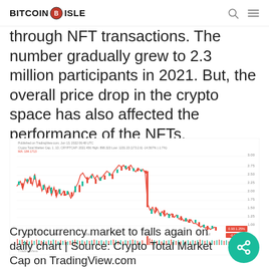BITCOIN ISLE
through NFT transactions. The number gradually grew to 2.3 million participants in 2021. But, the overall price drop in the crypto space has also affected the performance of the NFTs.
[Figure (continuous-plot): Candlestick chart showing Crypto Total Market Cap declining on daily chart, with red and green candles and volume bars at the bottom. The chart shows a peak followed by a significant decline. Source: TradingView.com]
Cryptocurrency market to falls again on daily chart | Source: Crypto Total Market Cap on TradingView.com Read the case of losses. Read the